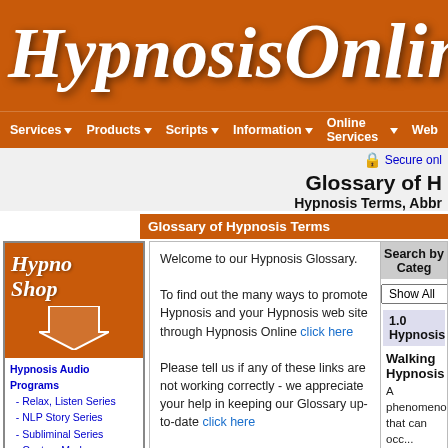Hypnosis Online
Services | Products | Scripts | Information | Online Services | Web
Secure onl...
Glossary of H...
Hypnosis Terms, Abbr...
Glossary of Hypnosis Terms
[Figure (logo): HypnoShop logo with orange arrow]
Hypnosis Audio Programs
- Relax, Listen Series
- NLP Story Series
- Subliminal Series
- Custom Made
Background Music
Online Services
Scripts for Therapists
- English
- Spanish
- Children
Self Hypnosis
- Learn
- Standard
- NLP
- Subliminal
Sponsor or Advertise
Hypnosis Training
- Hypnosis
Welcome to our Hypnosis Glossary.

To find out the many ways to promote Hypnosis and your Hypnosis web site through Hypnosis Online click here

Please tell us if any of these links are not working correctly - we appreciate your help in keeping our Glossary up-to-date click here
Search by Category: Show All

1.0 Hypnosis

Walking Hypnosis

A phenomenon that can occ... driving a car, reading a boo... or zoning out. More often re...

See related Item: http://

Go back